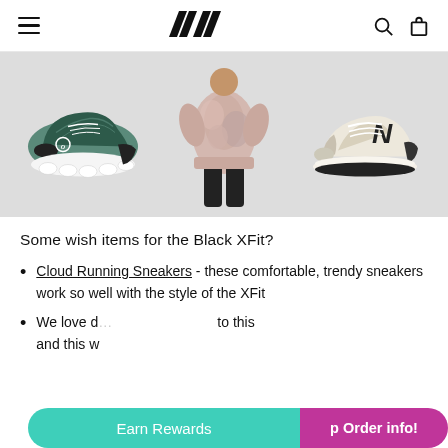Navigation bar with hamburger menu, logo (stylized M), search and cart icons
[Figure (photo): Product strip showing three items: On Cloud Running Sneaker (teal/black), a tie-dye pink sweatshirt worn by a model, and a New Balance 997H sneaker (cream/black)]
Some wish items for the Black XFit?
Cloud Running Sneakers - these comfortable, trendy sneakers work so well with the style of the XFit
We love d ... and this w ...